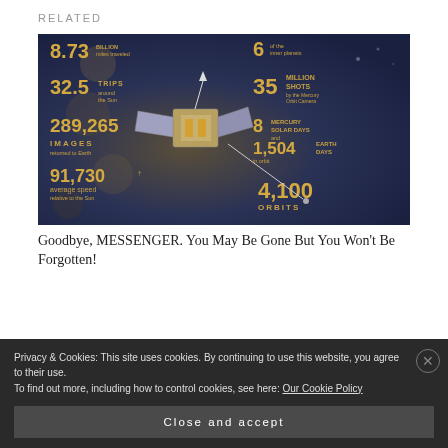RELATED
[Figure (infographic): MESSENGER spacecraft infographic showing mission statistics: 8.73 billion miles traveled, 6 of the inner planets, 32.5 trips around the Sun, 35 million shots by the Mercury Orbit Camera, 289,265 images returned to Earth, 8 Mercury solar days and 1,504 Earth days in orbit, 91,730 average speed relative to the Sun, 4,100 orbits]
Goodbye, MESSENGER. You May Be Gone But You Won't Be Forgotten!
Privacy & Cookies: This site uses cookies. By continuing to use this website, you agree to their use.
To find out more, including how to control cookies, see here: Our Cookie Policy
Close and accept